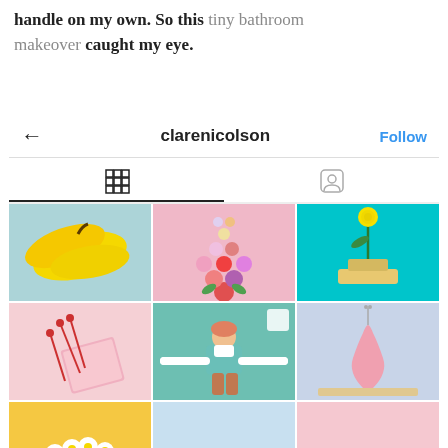handle on my own. So this tiny bathroom makeover caught my eye.
[Figure (screenshot): Instagram profile screenshot for user 'clarenicolson' showing a back arrow, username, Follow button, grid/profile tab icons, and a 3x3 photo grid. Row 1: bananas on blue-grey, flower arrangement on pink, yellow rose on teal. Row 2: pins and notebook on pink, person with arms out on teal (video icon), pink vase on blue. Row 3: daisies on yellow, light blue plain cell, plain pink cell.]